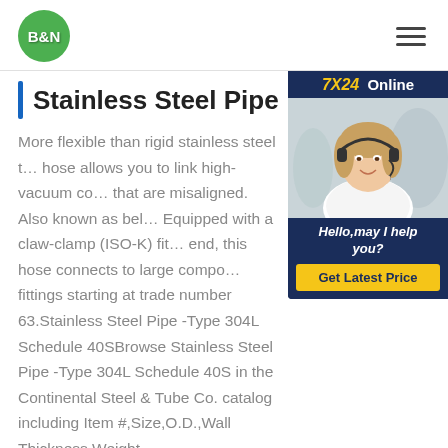B&N [logo] [hamburger menu]
Stainless Steel Pipe McMa...
[Figure (photo): 7X24 Online chat widget with photo of woman wearing headset, 'Hello,may I help you?' text and 'Get Latest Price' button]
More flexible than rigid stainless steel t… hose allows you to link high-vacuum co… that are misaligned. Also known as bel… Equipped with a claw-clamp (ISO-K) fit… end, this hose connects to large compo… fittings starting at trade number 63.Stainless Steel Pipe -Type 304L Schedule 40SBrowse Stainless Steel Pipe -Type 304L Schedule 40S in the Continental Steel & Tube Co. catalog including Item #,Size,O.D.,Wall Thickness,Weight